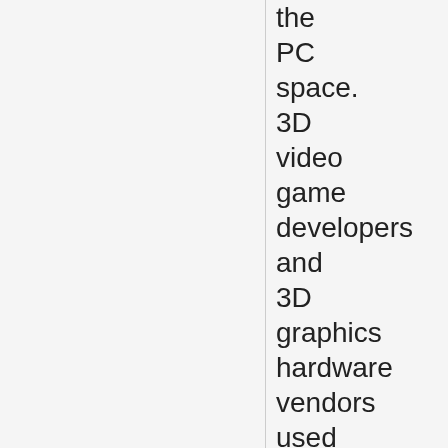the PC space. 3D video game developers and 3D graphics hardware vendors used 3DNow! to help